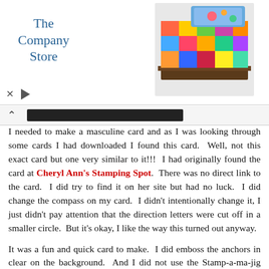[Figure (advertisement): Ad banner for The Company Store showing logo on left and colorful quilt/bedding image on right, with X and play controls at bottom left]
I needed to make a masculine card and as I was looking through some cards I had downloaded I found this card.  Well, not this exact card but one very similar to it!!!  I had originally found the card at Cheryl Ann's Stamping Spot.  There was no direct link to the card.  I did try to find it on her site but had no luck.  I did change the compass on my card.  I didn't intentionally change it, I just didn't pay attention that the direction letters were cut off in a smaller circle.  But it's okay, I like the way this turned out anyway.
It was a fun and quick card to make.  I did emboss the anchors in clear on the background.  And I did not use the Stamp-a-ma-jig when stamping the ships log image on the background.  I probably should have but I got it close enough!  After stamping the ships log image, I did sponge on